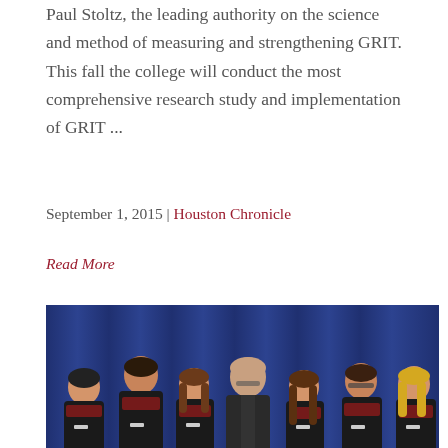Paul Stoltz, the leading authority on the science and method of measuring and strengthening GRIT. This fall the college will conduct the most comprehensive research study and implementation of GRIT ...
September 1, 2015 | Houston Chronicle
Read More
[Figure (photo): Group photo of seven people (six students in black GRIT Summit t-shirts with lanyards and one older man in a dark blazer) standing together in front of a blue curtain backdrop.]